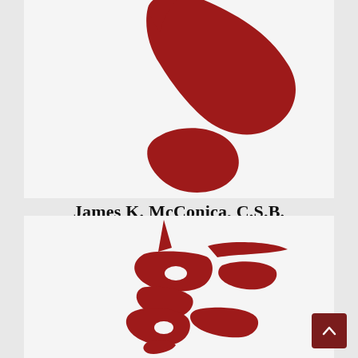[Figure (illustration): Partial red abstract illustration (top portion of a logo or decorative figure), cropped at bottom, on a light gray card background]
James K. McConica, C.S.B.
Read More »
[Figure (illustration): Red abstract illustration resembling a stylized figure or letter 'E', on a light gray card background (bottom card section)]